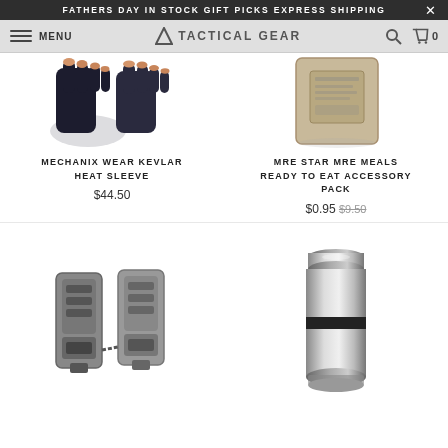FATHERS DAY IN STOCK GIFT PICKS EXPRESS SHIPPING
MENU | TACTICAL GEAR | Search | Cart 0
[Figure (photo): Mechanix Wear Kevlar Heat Sleeve gloves product photo showing fingerless tactical gloves on white background]
MECHANIX WEAR KEVLAR HEAT SLEEVE
$44.50
[Figure (photo): MRE Star MRE Meals Ready to Eat Accessory Pack - beige/tan military ration bag product photo]
MRE STAR MRE MEALS READY TO EAT ACCESSORY PACK
$0.95 $9.50
[Figure (photo): Tactical buckle/clip accessories - two metal gear buckles shown side by side on white background]
[Figure (photo): Stainless steel thermos/food container with dark band around middle, cylindrical shape with lid]